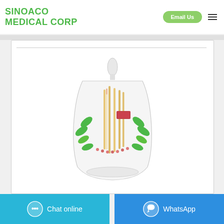SINOACO MEDICAL CORP
[Figure (photo): A medical product (appears to be a bundled package of cotton swabs or similar medical sticks) wrapped in a white bag with green leaf patterns and a small red label, tied at the top.]
Chat online
WhatsApp